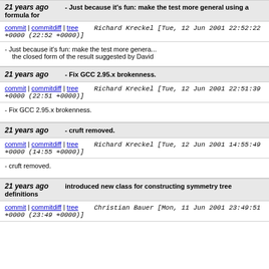21 years ago - Just because it's fun: make the test more general using a formula for
commit | commitdiff | tree Richard Kreckel [Tue, 12 Jun 2001 22:52:22 +0000 (22:52 +0000)]
- Just because it's fun: make the test more genera... the closed form of the result suggested by David
21 years ago - Fix GCC 2.95.x brokenness.
commit | commitdiff | tree Richard Kreckel [Tue, 12 Jun 2001 22:51:39 +0000 (22:51 +0000)]
- Fix GCC 2.95.x brokenness.
21 years ago - cruft removed.
commit | commitdiff | tree Richard Kreckel [Tue, 12 Jun 2001 14:55:49 +0000 (14:55 +0000)]
- cruft removed.
21 years ago introduced new class for constructing symmetry tree definitions
commit | commitdiff | tree Christian Bauer [Mon, 11 Jun 2001 23:49:51 +0000 (23:49 +0000)]